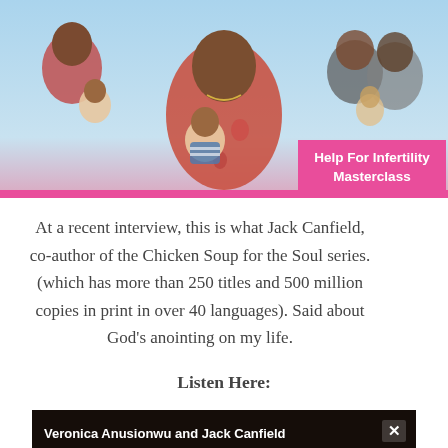[Figure (photo): Promotional banner photo showing a woman holding a baby in a floral dress in the center, flanked by other women with babies on a light blue background. A pink 'Help For Infertility Masterclass' badge appears in the lower right of the image.]
At a recent interview, this is what Jack Canfield, co-author of the Chicken Soup for the Soul series. (which has more than 250 titles and 500 million copies in print in over 40 languages). Said about God's anointing on my life.
Listen Here:
[Figure (screenshot): Video player thumbnail showing 'Veronica Anusionwu and Jack Canfield' label on a dark background with a close (X) button.]